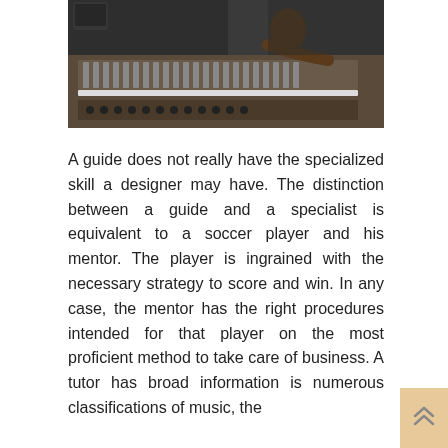[Figure (photo): A person at a professional audio mixing console in a recording studio, hands on the faders, with monitors and equipment visible in the background.]
A guide does not really have the specialized skill a designer may have. The distinction between a guide and a specialist is equivalent to a soccer player and his mentor. The player is ingrained with the necessary strategy to score and win. In any case, the mentor has the right procedures intended for that player on the most proficient method to take care of business. A tutor has broad information is numerous classifications of music, the